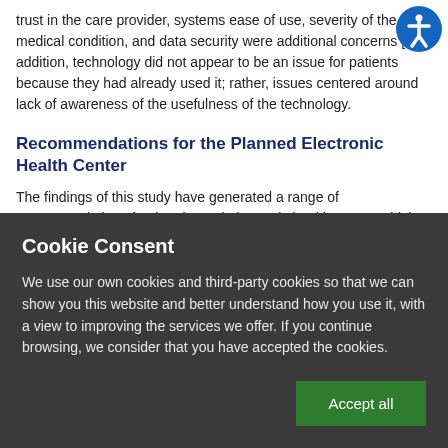trust in the care provider, systems ease of use, severity of the medical condition, and data security were additional concerns [ In addition, technology did not appear to be an issue for patients because they had already used it; rather, issues centered around lack of awareness of the usefulness of the technology.
Recommendations for the Planned Electronic Health Center
The findings of this study have generated a range of recommendations for the planned electronic health center, which
Cookie Consent
We use our own cookies and third-party cookies so that we can show you this website and better understand how you use it, with a view to improving the services we offer. If you continue browsing, we consider that you have accepted the cookies.